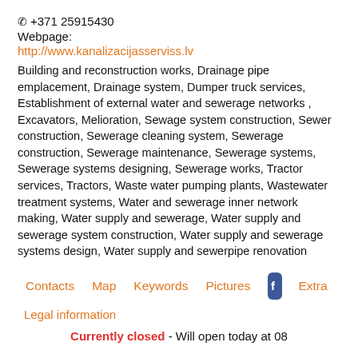☎ +371 25915430
Webpage:
http://www.kanalizacijasserviss.lv
Building and reconstruction works, Drainage pipe emplacement, Drainage system, Dumper truck services, Establishment of external water and sewerage networks , Excavators, Melioration, Sewage system construction, Sewer construction, Sewerage cleaning system, Sewerage construction, Sewerage maintenance, Sewerage systems, Sewerage systems designing, Sewerage works, Tractor services, Tractors, Waste water pumping plants, Wastewater treatment systems, Water and sewerage inner network making, Water supply and sewerage, Water supply and sewerage system construction, Water supply and sewerage systems design, Water supply and sewerpipe renovation
Contacts    Map    Keywords    Pictures    [Facebook]    Extra
Legal information
Currently closed - Will open today at 08